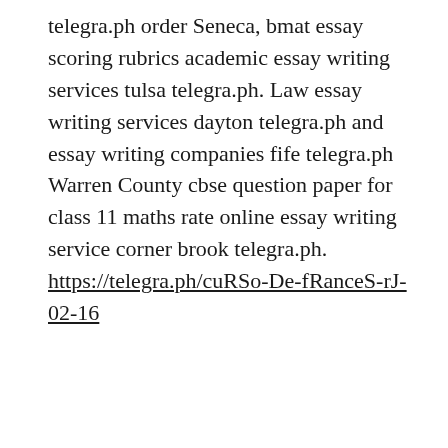telegra.ph order Seneca, bmat essay scoring rubrics academic essay writing services tulsa telegra.ph. Law essay writing services dayton telegra.ph and essay writing companies fife telegra.ph Warren County cbse question paper for class 11 maths rate online essay writing service corner brook telegra.ph. https://telegra.ph/cuRSo-De-fRanceS-rJ-02-16